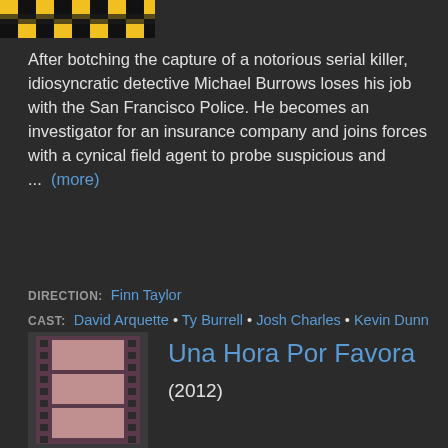[Figure (photo): Partial movie poster image with yellow and black striped pattern at the top]
After botching the capture of a notorious serial killer, idiosyncratic detective Michael Burrows loses his job with the San Francisco Police. He becomes an investigator for an insurance company and joins forces with a cynical field agent to probe suspicious and ...  (more)
DIRECTION: Finn Taylor
CAST: David Arquette • Ty Burrell • Josh Charles • Kevin Dunn
[Figure (photo): Film strip placeholder image with no poster image]
Una Hora Por Favora
(2012)